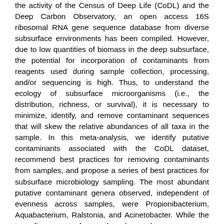the activity of the Census of Deep Life (CoDL) and the Deep Carbon Observatory, an open access 16S ribosomal RNA gene sequence database from diverse subsurface environments has been compiled. However, due to low quantities of biomass in the deep subsurface, the potential for incorporation of contaminants from reagents used during sample collection, processing, and/or sequencing is high. Thus, to understand the ecology of subsurface microorganisms (i.e., the distribution, richness, or survival), it is necessary to minimize, identify, and remove contaminant sequences that will skew the relative abundances of all taxa in the sample. In this meta-analysis, we identify putative contaminants associated with the CoDL dataset, recommend best practices for removing contaminants from samples, and propose a series of best practices for subsurface microbiology sampling. The most abundant putative contaminant genera observed, independent of evenness across samples, were Propionibacterium, Aquabacterium, Ralstonia, and Acinetobacter. While the top five most frequently observed genera were Pseudomonas, Propionibacterium, Acinetobacter, Ralstonia, and Sphingomonas. The majority of the most frequently observed genera (high evenness) were associated with reagent or potential human contamination. Additionally, in DNA extraction blanks, we observed potential archaeal contaminants, including methanogens, which